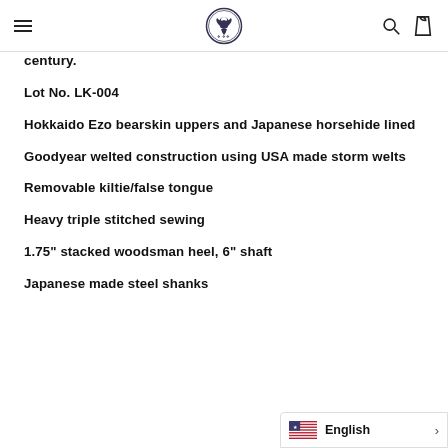[menu icon] [logo] [search icon] [bag icon]
century.
Lot No. LK-004
Hokkaido Ezo bearskin uppers and Japanese horsehide lined
Goodyear welted construction using USA made storm welts
Removable kiltie/false tongue
Heavy triple stitched sewing
1.75" stacked woodsman heel, 6" shaft
Japanese made steel shanks
English